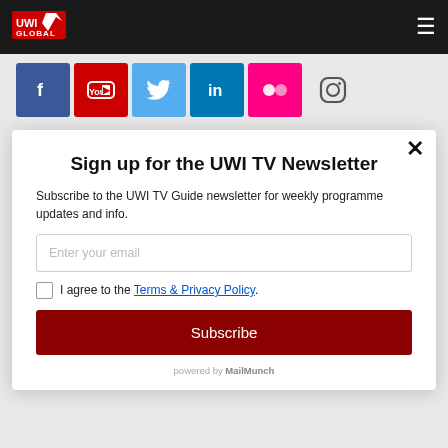UWI Global navigation bar with logo and hamburger menu
[Figure (infographic): Social media icons bar: Facebook (blue), YouTube (red), Twitter (light blue), LinkedIn (blue), Flickr (pink/magenta), Instagram (outline)]
Sign up for the UWI TV Newsletter
Subscribe to the UWI TV Guide newsletter for weekly programme updates and info.
Enter your email
I agree to the Terms & Privacy Policy.
Subscribe
powered by MailMunch